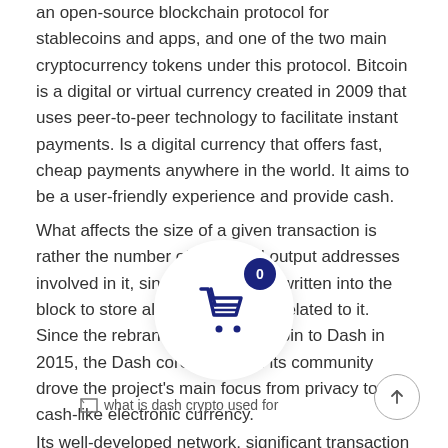an open-source blockchain protocol for stablecoins and apps, and one of the two main cryptocurrency tokens under this protocol. Bitcoin is a digital or virtual currency created in 2009 that uses peer-to-peer technology to facilitate instant payments. Is a digital currency that offers fast, cheap payments anywhere in the world. It aims to be a user-friendly experience and provide cash.
What affects the size of a given transaction is rather the number of input and output addresses involved in it, since more data is written into the block to store all the information related to it. Since the rebranding from Darkcoin to Dash in 2015, the Dash core team and its community drove the project's main focus from privacy to cash-like electronic currency.
[Figure (other): Broken image placeholder labeled 'what is dash crypto used for']
Its well-developed network, significant transaction